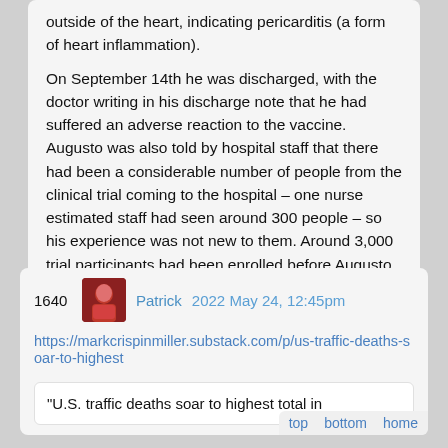outside of the heart, indicating pericarditis (a form of heart inflammation).
On September 14th he was discharged, with the doctor writing in his discharge note that he had suffered an adverse reaction to the vaccine. Augusto was also told by hospital staff that there had been a considerable number of people from the clinical trial coming to the hospital – one nurse estimated staff had seen around 300 people – so his experience was not new to them. Around 3,000 trial participants had been enrolled before Augusto, so, if the nurse's estimate is accurate, this would be a hospitalisation rate of 10%.
1640  Patrick  2022 May 24, 12:45pm
https://markcrispinmiller.substack.com/p/us-traffic-deaths-soar-to-highest
"U.S. traffic deaths soar to highest total in